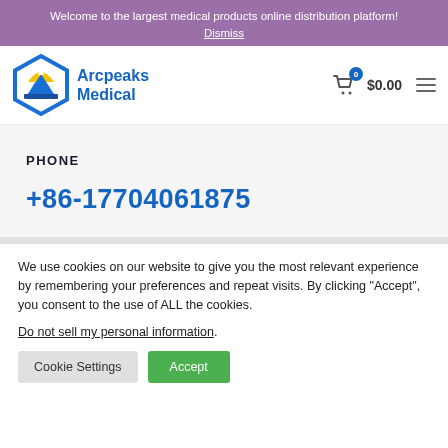Welcome to the largest medical products online distribution platform! Dismiss
[Figure (logo): Arcpeaks Medical logo — hexagon shape with mountain/sun icon, blue border, text 'Arcpeaks Medical' in blue]
$0.00
PHONE
+86-17704061875
We use cookies on our website to give you the most relevant experience by remembering your preferences and repeat visits. By clicking “Accept”, you consent to the use of ALL the cookies.
Do not sell my personal information.
Cookie Settings
Accept